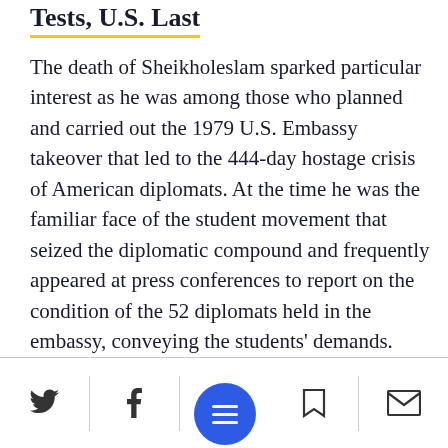Tests, U.S. Last
The death of Sheikholeslam sparked particular interest as he was among those who planned and carried out the 1979 U.S. Embassy takeover that led to the 444-day hostage crisis of American diplomats. At the time he was the familiar face of the student movement that seized the diplomatic compound and frequently appeared at press conferences to report on the condition of the 52 diplomats held in the embassy, conveying the students' demands.
Social share bar with Twitter, Facebook, menu, bookmark, and email icons